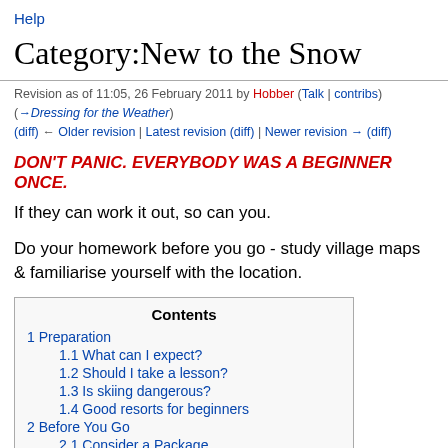Help
Category:New to the Snow
Revision as of 11:05, 26 February 2011 by Hobber (Talk | contribs)
(→Dressing for the Weather)
(diff) ← Older revision | Latest revision (diff) | Newer revision → (diff)
DON'T PANIC. EVERYBODY WAS A BEGINNER ONCE.
If they can work it out, so can you.
Do your homework before you go - study village maps & familiarise yourself with the location.
| Contents |
| --- |
| 1 Preparation |
| 1.1 What can I expect? |
| 1.2 Should I take a lesson? |
| 1.3 Is skiing dangerous? |
| 1.4 Good resorts for beginners |
| 2 Before You Go |
| 2.1 Consider a Package |
| 2.2 Dressing for the Weather |
| 2.3 Other Gear |